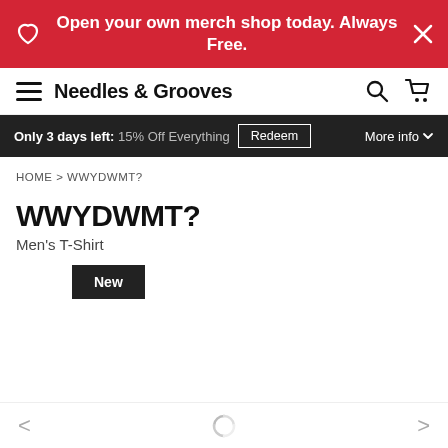Open your own merch shop today. Always Free.
Needles & Grooves
Only 3 days left: 15% Off Everything  Redeem  More info
HOME > WWYDWMT?
WWYDWMT?
Men's T-Shirt
New